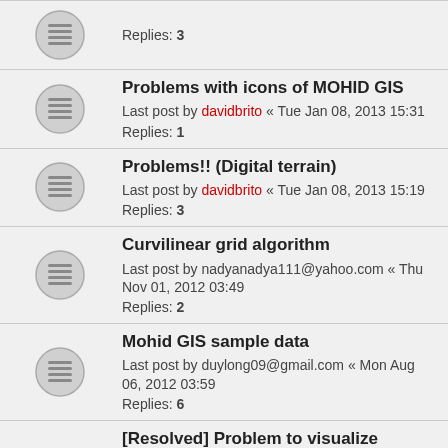Replies: 3
Problems with icons of MOHID GIS
Last post by davidbrito « Tue Jan 08, 2013 15:31
Replies: 1
Problems!! (Digital terrain)
Last post by davidbrito « Tue Jan 08, 2013 15:19
Replies: 3
Curvilinear grid algorithm
Last post by nadyanadya111@yahoo.com « Thu Nov 01, 2012 03:49
Replies: 2
Mohid GIS sample data
Last post by duylong09@gmail.com « Mon Aug 06, 2012 03:59
Replies: 6
[Resolved] Problem to visualize simulation results HDF5
Last post by matthieu.gutierrez@cg64.fr « Fri Apr 27, 2012 08:08
Replies: 3
Error Creating the Digital Terrain
Last post by frank.maretoc@ist.utl.pt « Mon Apr 09, 2012 09:24